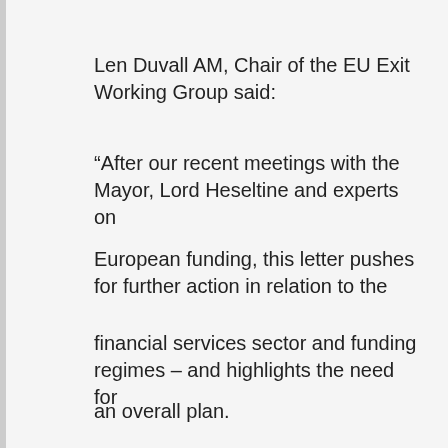Len Duvall AM, Chair of the EU Exit Working Group said:
“After our recent meetings with the Mayor, Lord Heseltine and experts on European funding, this letter pushes for further action in relation to the financial services sector and funding regimes – and highlights the need for an overall plan.
The Mayor has a plan for housing in London, a plan for the environment, a